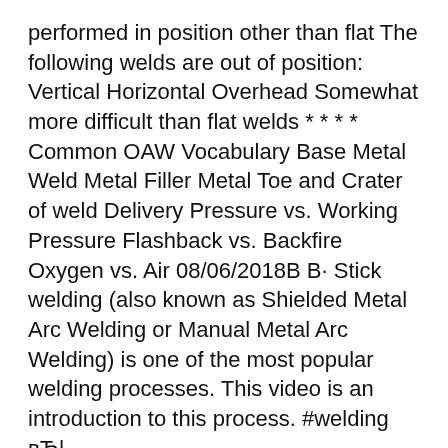performed in position other than flat The following welds are out of position: Vertical Horizontal Overhead Somewhat more difficult than flat welds * * * * Common OAW Vocabulary Base Metal Weld Metal Filler Metal Toe and Crater of weld Delivery Pressure vs. Working Pressure Flashback vs. Backfire Oxygen vs. Air 08/06/2018В В· Stick welding (also known as Shielded Metal Arc Welding or Manual Metal Arc Welding) is one of the most popular welding processes. This video is an introduction to this process. #welding вЂ¦
Shielded Metal Arc Welding Shielded Metal Arc Welding Shielded Metal Arc Welding (SMAW) welding: The oldest of